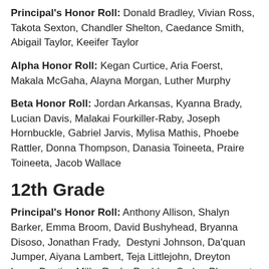Principal's Honor Roll: Donald Bradley, Vivian Ross, Takota Sexton, Chandler Shelton, Caedance Smith, Abigail Taylor, Keeifer Taylor
Alpha Honor Roll: Kegan Curtice, Aria Foerst, Makala McGaha, Alayna Morgan, Luther Murphy
Beta Honor Roll: Jordan Arkansas, Kyanna Brady, Lucian Davis, Malakai Fourkiller-Raby, Joseph Hornbuckle, Gabriel Jarvis, Mylisa Mathis, Phoebe Rattler, Donna Thompson, Danasia Toineeta, Praire Toineeta, Jacob Wallace
12th Grade
Principal's Honor Roll: Anthony Allison, Shalyn Barker, Emma Broom, David Bushyhead, Bryanna Disoso, Jonathan Frady, Destyni Johnson, Da'quan Jumper, Aiyana Lambert, Teja Littlejohn, Dreyton Long, Destiny Mills, Rocky Peebles, Caden Pheasant, Dustin Pheasant, Rosa Reyes, Dakota Siweumptewa,